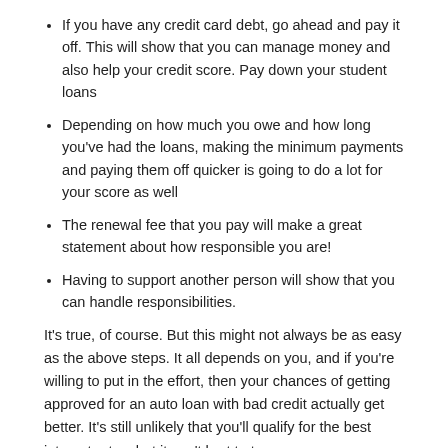If you have any credit card debt, go ahead and pay it off. This will show that you can manage money and also help your credit score. Pay down your student loans
Depending on how much you owe and how long you've had the loans, making the minimum payments and paying them off quicker is going to do a lot for your score as well
The renewal fee that you pay will make a great statement about how responsible you are!
Having to support another person will show that you can handle responsibilities.
It's true, of course. But this might not always be as easy as the above steps. It all depends on you, and if you're willing to put in the effort, then your chances of getting approved for an auto loan with bad credit actually get better. It's still unlikely that you'll qualify for the best interest rates, but it can't hurt to try.
Is a Credit Score of 500 good?